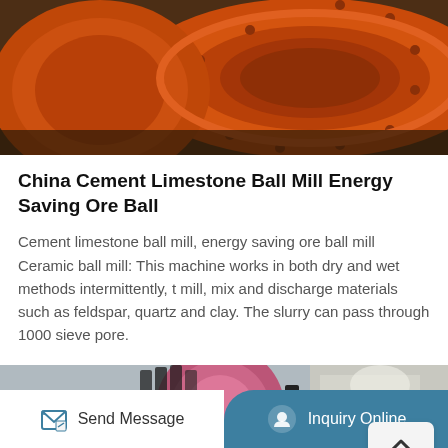[Figure (photo): Close-up photo of an orange-painted industrial ball mill drum/cylinder machinery viewed from the side, showing bolted flanges and industrial heavy equipment on a factory floor.]
China Cement Limestone Ball Mill Energy Saving Ore Ball
Cement limestone ball mill, energy saving ore ball mill Ceramic ball mill: This machine works in both dry and wet methods intermittently, t mill, mix and discharge materials such as feldspar, quartz and clay. The slurry can pass through 1000 sieve pore.
[Figure (photo): Partial view of an industrial ball mill showing gears and colorful pink/purple painted machinery components in a factory setting.]
Send Message    Inquiry Online